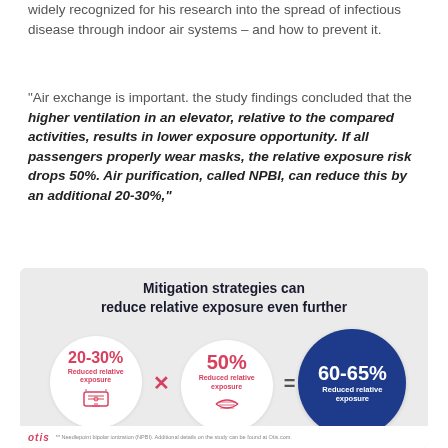widely recognized for his research into the spread of infectious disease through indoor air systems – and how to prevent it.
"Air exchange is important. the study findings concluded that the higher ventilation in an elevator, relative to the compared activities, results in lower exposure opportunity. If all passengers properly wear masks, the relative exposure risk drops 50%. Air purification, called NPBI, can reduce this by an additional 20-30%,"
[Figure (infographic): Infographic showing mitigation strategies can reduce relative exposure even further. Three circles: 20-30% reduced relative exposure (air purification) times 50% reduced relative exposure (proper mask usage) equals 60-65% reduced relative exposure (proper mask usage by all riders combined with air purification).]
OTIS. ** Needlepoint bipolar ionization (NPBI). Additional details on the study can be found at Otis.com.